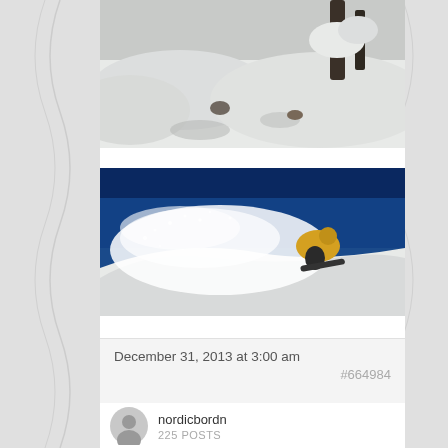[Figure (photo): Snowy scene with snow-covered trees, partially cropped at top of frame]
[Figure (photo): Snowboarder carving through deep powder snow with blue sky background, snow spray visible]
December 31, 2013 at 3:00 am
#664984
nordicbordn
225 POSTS